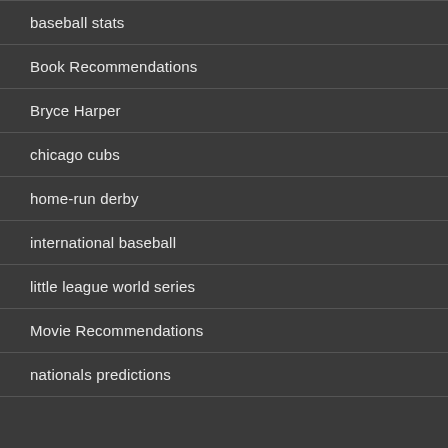baseball stats
Book Recommendations
Bryce Harper
chicago cubs
home-run derby
international baseball
little league world series
Movie Recommendations
nationals predictions